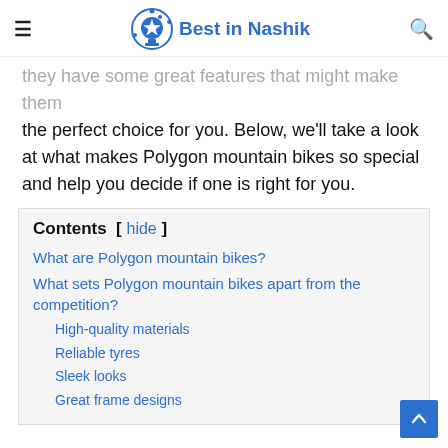≡  Best in Nashik  🔍
they have some great features that might make them the perfect choice for you. Below, we'll take a look at what makes Polygon mountain bikes so special and help you decide if one is right for you.
Contents [ hide ]
What are Polygon mountain bikes?
What sets Polygon mountain bikes apart from the competition?
High-quality materials
Reliable tyres
Sleek looks
Great frame designs